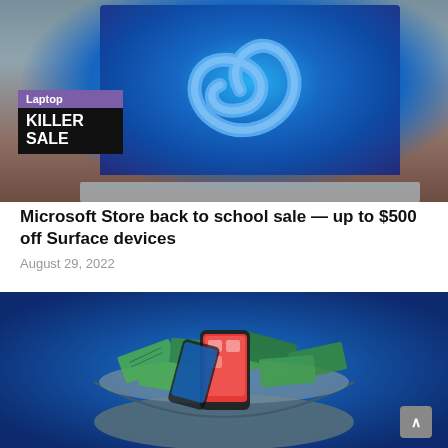[Figure (photo): Laptop computer on a desk showing Windows 11 wallpaper with a blue swirl design. Overlaid badge reads 'Laptop KILLER SALE' in purple and black.]
Microsoft Store back to school sale — up to $500 off Surface devices
August 29, 2022
[Figure (photo): A bowl filled with dollar bills and smartphones, representing money and mobile devices, on a blue background.]